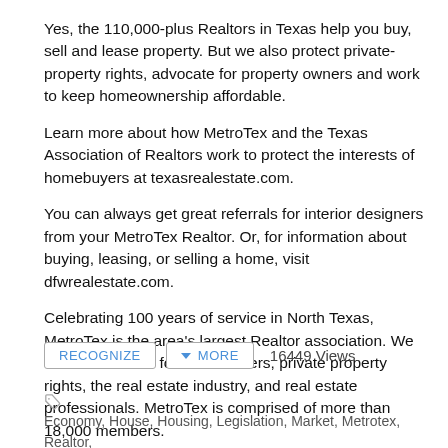Yes, the 110,000-plus Realtors in Texas help you buy, sell and lease property. But we also protect private-property rights, advocate for property owners and work to keep homeownership affordable.
Learn more about how MetroTex and the Texas Association of Realtors work to protect the interests of homebuyers at texasrealestate.com.
You can always get great referrals for interior designers from your MetroTex Realtor. Or, for information about buying, leasing, or selling a home, visit dfwrealestate.com.
Celebrating 100 years of service in North Texas, MetroTex is the area's largest Realtor association. We are an advocate for homeowners, private property rights, the real estate industry, and real estate professionals. MetroTex is comprised of more than 18,000 members.
RECOGNIZE  MORE  16449 Views
Economy, House, Housing, Legislation, Market, Metrotex, Realtor, Taxes